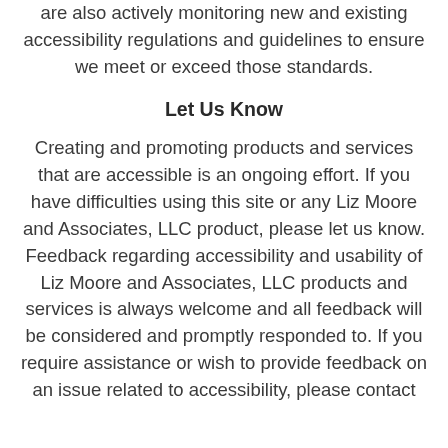are also actively monitoring new and existing accessibility regulations and guidelines to ensure we meet or exceed those standards.
Let Us Know
Creating and promoting products and services that are accessible is an ongoing effort. If you have difficulties using this site or any Liz Moore and Associates, LLC product, please let us know. Feedback regarding accessibility and usability of Liz Moore and Associates, LLC products and services is always welcome and all feedback will be considered and promptly responded to. If you require assistance or wish to provide feedback on an issue related to accessibility, please contact